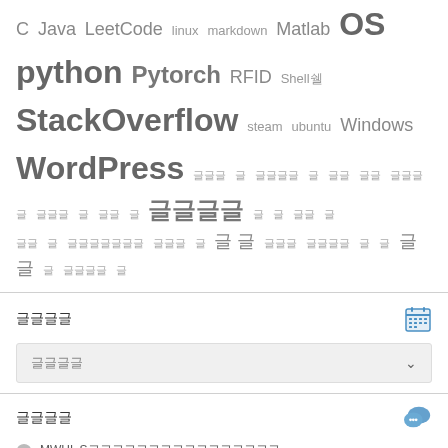C Java LeetCode linux markdown Matlab OS python Pytorch RFID Shell쉘 StackOverflow steam ubuntu Windows WordPress 글 글 글글글 글 글글 글글 글글글글 글글글 글 글글 글 글글글글 글 글 글글 글 글 글글글글글글 글 글 글글 글글글글 글글글글 글 글글
글글글글
글글글글
글글글글
MWHL S글글글글글글글글글글글글글글글글
글글글글글글글글글글글글글글글 글글글
dujun글글글글글글글글글글글글글글글
dujun글글글글글글글글글글글글글